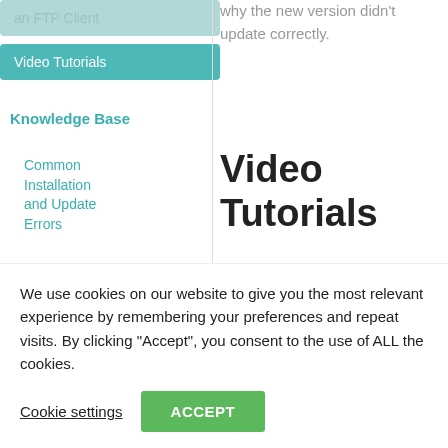an FTP Client
Video Tutorials
Knowledge Base
Common Installation and Update Errors
Less Common Installation
why the new version didn't update correctly.
Video Tutorials
Installing theme via WordPress admin
We use cookies on our website to give you the most relevant experience by remembering your preferences and repeat visits. By clicking “Accept”, you consent to the use of ALL the cookies.
Cookie settings
ACCEPT